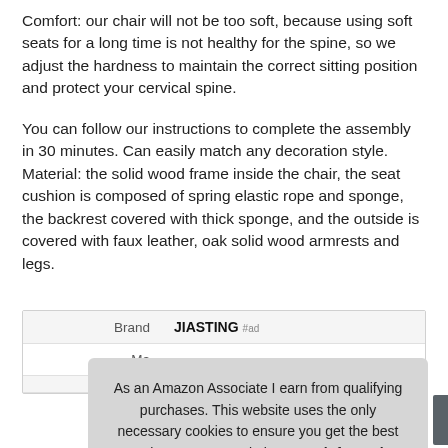Comfort: our chair will not be too soft, because using soft seats for a long time is not healthy for the spine, so we adjust the hardness to maintain the correct sitting position and protect your cervical spine.
You can follow our instructions to complete the assembly in 30 minutes. Can easily match any decoration style. Material: the solid wood frame inside the chair, the seat cushion is composed of spring elastic rope and sponge, the backrest covered with thick sponge, and the outside is covered with faux leather, oak solid wood armrests and legs.
| Brand | JIASTING #ad |
| Ma |  |
As an Amazon Associate I earn from qualifying purchases. This website uses the only necessary cookies to ensure you get the best experience on our website. More information